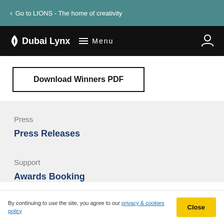Go to LIONS - The home of creativity
Dubai Lynx  Menu
Download Winners PDF
Press
Press Releases
Support
Awards Booking...
By continuing to use the site, you agree to our privacy & cookies policy